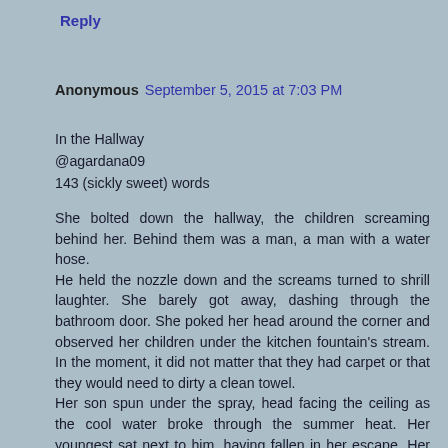Reply
Anonymous  September 5, 2015 at 7:03 PM
In the Hallway
@agardana09
143 (sickly sweet) words
She bolted down the hallway, the children screaming behind her. Behind them was a man, a man with a water hose.
He held the nozzle down and the screams turned to shrill laughter. She barely got away, dashing through the bathroom door. She poked her head around the corner and observed her children under the kitchen fountain's stream. In the moment, it did not matter that they had carpet or that they would need to dirty a clean towel.
Her son spun under the spray, head facing the ceiling as the cool water broke through the summer heat. Her youngest sat next to him, having fallen in her escape. Her hands rose upward and feet kicked in delight.
And now their heads bobbed behind them, as they shared...